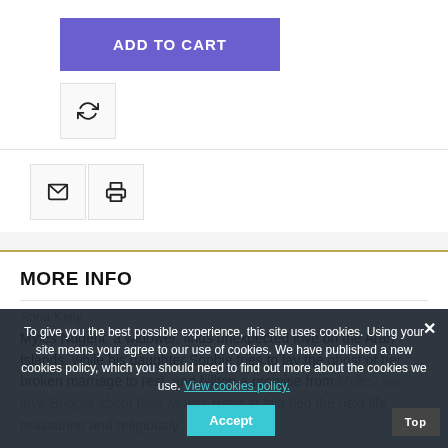[Figure (screenshot): Purple 'ADD TO CART' button]
[Figure (screenshot): Refresh/compare icon button in a bordered box]
[Figure (screenshot): Email icon button and Print icon button in bordered boxes]
MORE INFO
Anna Kelly
Myles Nugent, a widower, finds unexpected love on the Aran Islands, while his daughter Sophie tries to lay the ghost of her broken marriage to rest, and hilltop a promise from Myles' new love Bridget about their family. Have at last fled the next life, reassuring and religiously
To give you the best possible experience, this site uses cookies. Using your site means your agree to our use of cookies. We have published a new cookies policy, which you should need to find out more about the cookies we use. View cookies policy.   Accept